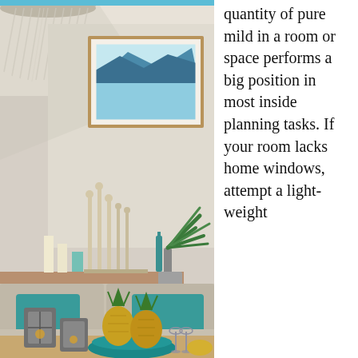[Figure (photo): Interior living room photo showing a sofa with teal/turquoise cushions, decorative lanterns, pineapples in a teal bowl on a wooden coffee table, tall white decorative objects on a shelf, a framed coastal artwork on the wall, a crystal chandelier, and tropical palm plant.]
quantity of pure mild in a room or space performs a big position in most inside planning tasks. If your room lacks home windows, attempt a light-weight